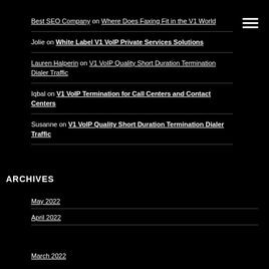Best SEO Company on Where Does Faxing Fit in the V1 World
Jolie on White Label V1 VoIP Private Services Solutions
Lauren Halperin on V1 VoIP Quality Short Duration Termination Dialer Traffic
Iqbal on V1 VoIP Termination for Call Centers and Contact Centers
Susanne on V1 VoIP Quality Short Duration Termination Dialer Traffic
ARCHIVES
May 2022
April 2022
March 2022